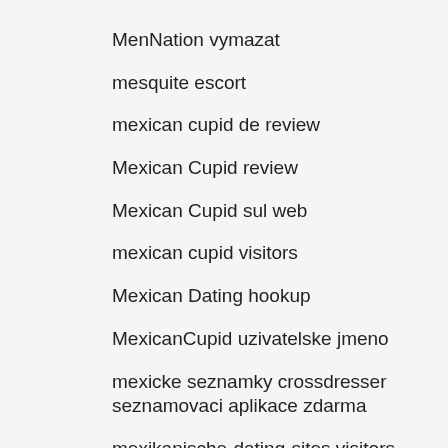MenNation vymazat
mesquite escort
mexican cupid de review
Mexican Cupid review
Mexican Cupid sul web
mexican cupid visitors
Mexican Dating hookup
MexicanCupid uzivatelske jmeno
mexicke seznamky crossdresser seznamovaci aplikace zdarma
mexikanische-dating-sites visitors